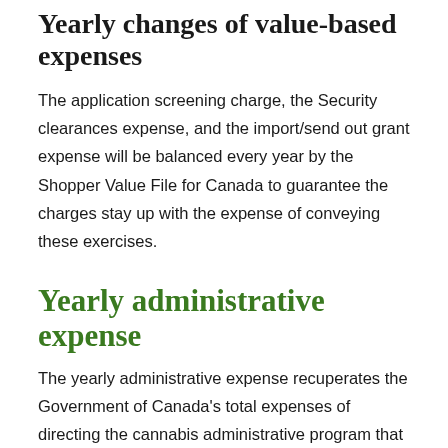Yearly changes of value-based expenses
The application screening charge, the Security clearances expense, and the import/send out grant expense will be balanced every year by the Shopper Value File for Canada to guarantee the charges stay up with the expense of conveying these exercises.
Yearly administrative expense
The yearly administrative expense recuperates the Government of Canada's total expenses of directing the cannabis administrative program that are not secured by the value-based charges laid out